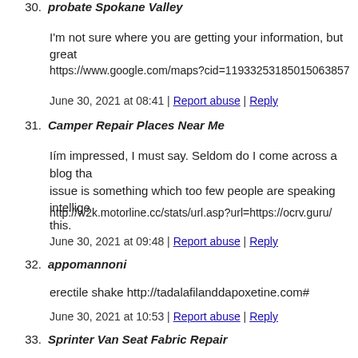30. probate Spokane Valley
I'm not sure where you are getting your information, but great
https://www.google.com/maps?cid=11933253185015063857
June 30, 2021 at 08:41 | Report abuse | Reply
31. Camper Repair Places Near Me
Iím impressed, I must say. Seldom do I come across a blog tha issue is something which too few people are speaking intellige this.
http://w2k.motorline.cc/stats/url.asp?url=https://ocrv.guru/
June 30, 2021 at 09:48 | Report abuse | Reply
32. appomannoni
erectile shake http://tadalafilanddapoxetine.com#
June 30, 2021 at 10:53 | Report abuse | Reply
33. Sprinter Van Seat Fabric Repair
https://www.paltalk.com/client/webapp/client/External.wmt?ur
June 30, 2021 at 11:56 | Report abuse | Reply